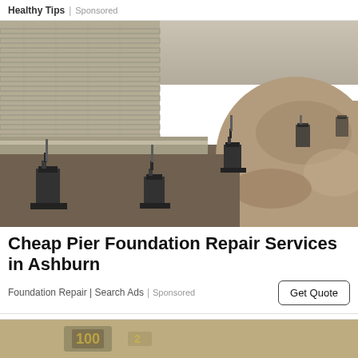Healthy Tips | Sponsored
[Figure (photo): Black and white photograph showing foundation repair work — a trench dug alongside a brick foundation wall with multiple pier support brackets installed along the base of the wall, surrounded by exposed dirt.]
Cheap Pier Foundation Repair Services in Ashburn
Foundation Repair | Search Ads | Sponsored
[Figure (photo): Bottom strip of a second advertisement image, partially visible — appears to show an interior or signage scene in color.]